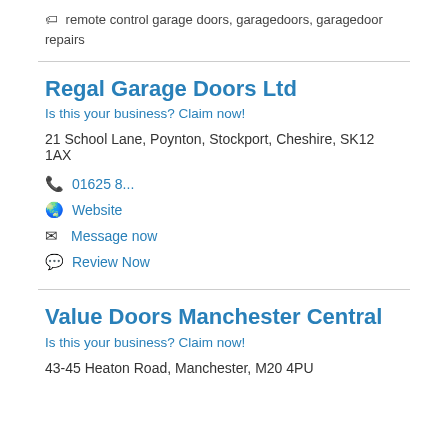🏷 remote control garage doors, garagedoors, garagedoor repairs
Regal Garage Doors Ltd
Is this your business? Claim now!
21 School Lane, Poynton, Stockport, Cheshire, SK12 1AX
📞 01625 8...
🌐 Website
✉ Message now
💬 Review Now
Value Doors Manchester Central
Is this your business? Claim now!
43-45 Heaton Road, Manchester, M20 4PU